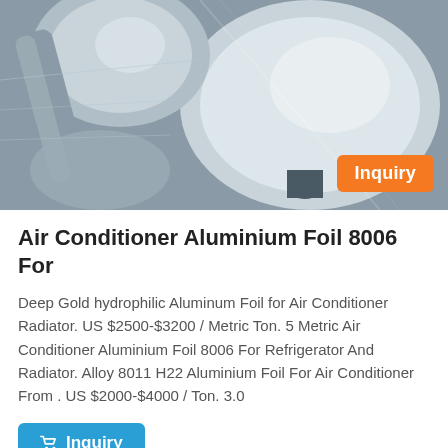[Figure (photo): Close-up photo of shiny aluminium foil rolls/discs with metallic silver surface, with an orange 'Inquiry' badge in the bottom right corner]
Air Conditioner Aluminium Foil 8006 For
Deep Gold hydrophilic Aluminum Foil for Air Conditioner Radiator. US $2500-$3200 / Metric Ton. 5 Metric Air Conditioner Aluminium Foil 8006 For Refrigerator And Radiator. Alloy 8011 H22 Aluminium Foil For Air Conditioner From . US $2000-$4000 / Ton. 3.0
[Figure (photo): Partial photo of aluminium foil rolls at the bottom of the page]